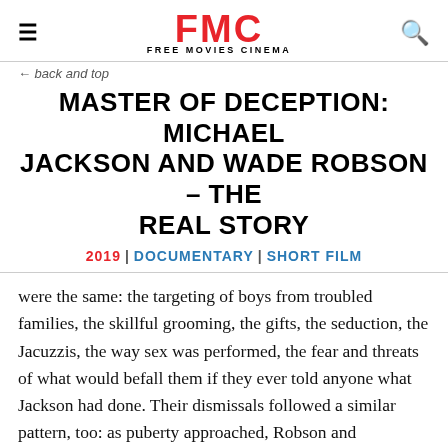FMC FREE MOVIES CINEMA
← back and top
MASTER OF DECEPTION: MICHAEL JACKSON AND WADE ROBSON - THE REAL STORY
2019 | DOCUMENTARY | SHORT FILM
were the same: the targeting of boys from troubled families, the skillful grooming, the gifts, the seduction, the Jacuzzis, the way sex was performed, the fear and threats of what would befall them if they ever told anyone what Jackson had done. Their dismissals followed a similar pattern, too: as puberty approached, Robson and Safechuck say in the documentary, they were abruptly thrown to the curb and replaced with a new, younger kid.